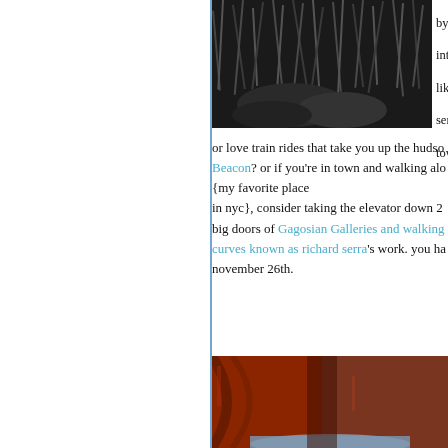[Figure (photo): Black and white photograph of tall grass or reeds with some foliage, viewed from above or at an angle]
by, i m introd like w serra. town,
or love train rides that take you up the hudson to Beacon? or if you're in town and walking alo {my favorite place in nyc}, consider taking the elevator down 2 big doors of Gagosian Galleries and walking curves known as richard serra's work. you ha november 26th.
[Figure (photo): Color photograph of large curved rusty red/brown steel sculpture walls by Richard Serra, with blue floor visible]